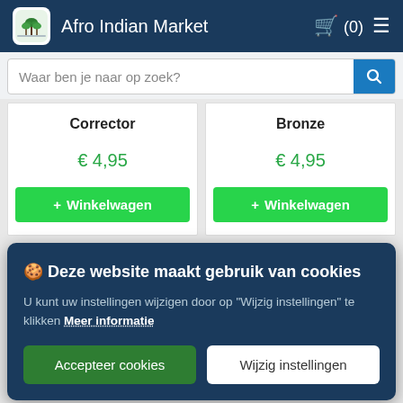Afro Indian Market
Waar ben je naar op zoek?
| Corrector | Bronze |
| --- | --- |
| € 4,95 | € 4,95 |
| + Winkelwagen | + Winkelwagen |
🍪 Deze website maakt gebruik van cookies

U kunt uw instellingen wijzigen door op "Wijzig instellingen" te klikken Meer informatie

Accepteer cookies  Wijzig instellingen